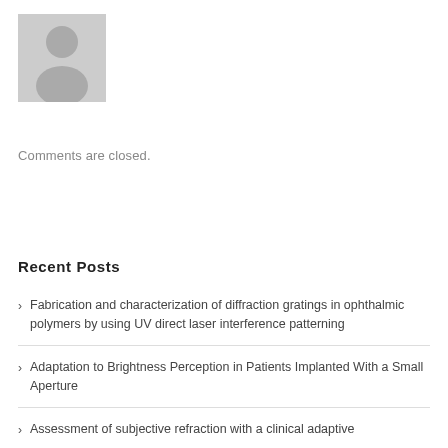[Figure (photo): Generic grey avatar/silhouette placeholder image for a person]
Comments are closed.
Recent Posts
Fabrication and characterization of diffraction gratings in ophthalmic polymers by using UV direct laser interference patterning
Adaptation to Brightness Perception in Patients Implanted With a Small Aperture
Assessment of subjective refraction with a clinical adaptive